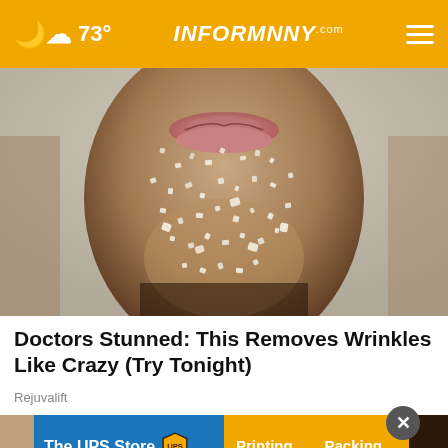73° INFORMNINY.com
[Figure (photo): Close-up of a person's lower face and chin covered in sugar or salt crystals, with lips visible, skin exfoliation beauty concept, light gray background]
Doctors Stunned: This Removes Wrinkles Like Crazy (Try Tonight)
Rejuvalift
[Figure (photo): Partial view of a person's face at bottom of page, with The UPS Store advertisement overlay showing: The UPS Store | Alex Bay | 315-482-0870 | Printing | Packing | Shipping | Mailboxes]